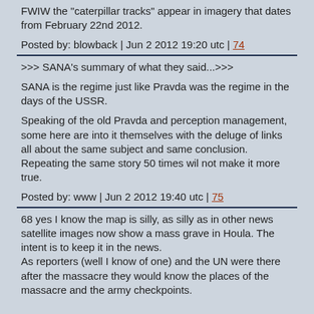FWIW the "caterpillar tracks" appear in imagery that dates from February 22nd 2012.
Posted by: blowback | Jun 2 2012 19:20 utc | 74
>>> SANA's summary of what they said...>>>
SANA is the regime just like Pravda was the regime in the days of the USSR.
Speaking of the old Pravda and perception management, some here are into it themselves with the deluge of links all about the same subject and same conclusion. Repeating the same story 50 times wil not make it more true.
Posted by: www | Jun 2 2012 19:40 utc | 75
68 yes I know the map is silly, as silly as in other news satellite images now show a mass grave in Houla. The intent is to keep it in the news.
As reporters (well I know of one) and the UN were there after the massacre they would know the places of the massacre and the army checkpoints.